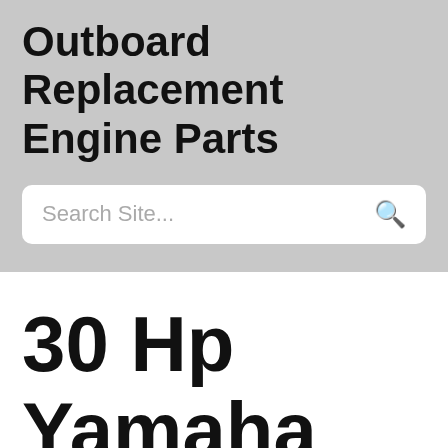Outboard Replacement Engine Parts
Search Site...
30 Hp Yamaha